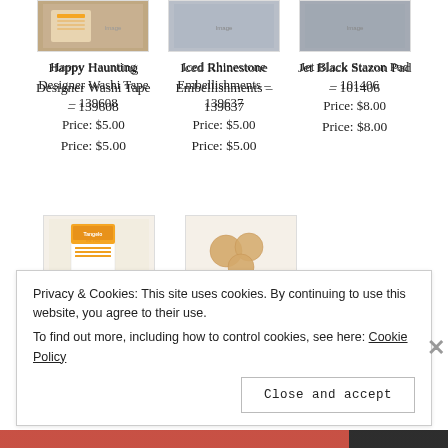[Figure (photo): Product thumbnail - Happy Haunting Designer Washi Tape (patterned tape product)]
Happy Haunting Designer Washi Tape – 139608
Price: $5.00
[Figure (photo): Product thumbnail - Iced Rhinestone Embellishments]
Iced Rhinestone Embellishments – 139637
Price: $5.00
[Figure (photo): Product thumbnail - Jet Black Stazon Pad]
Jet Black Stazon Pad – 101406
Price: $8.00
[Figure (photo): Product thumbnail - Tangelo Twist Classic ink with orange and white packaging]
Tangelo Twist Classic...
[Figure (photo): Product thumbnail - Stamping Sponges (round beige sponges)]
Stamping S...
Privacy & Cookies: This site uses cookies. By continuing to use this website, you agree to their use.
To find out more, including how to control cookies, see here: Cookie Policy
Close and accept